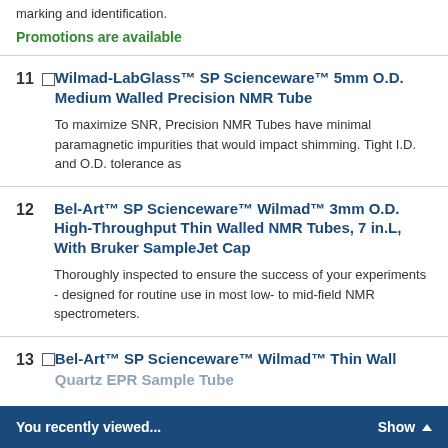marking and identification.
Promotions are available
11 Wilmad-LabGlass™ SP Scienceware™ 5mm O.D. Medium Walled Precision NMR Tube — To maximize SNR, Precision NMR Tubes have minimal paramagnetic impurities that would impact shimming. Tight I.D. and O.D. tolerance as
12 Bel-Art™ SP Scienceware™ Wilmad™ 3mm O.D. High-Throughput Thin Walled NMR Tubes, 7 in.L, With Bruker SampleJet Cap — Thoroughly inspected to ensure the success of your experiments - designed for routine use in most low- to mid-field NMR spectrometers.
13 Bel-Art™ SP Scienceware™ Wilmad™ Thin Wall Quartz EPR Sample Tube
You recently viewed... Show ▲